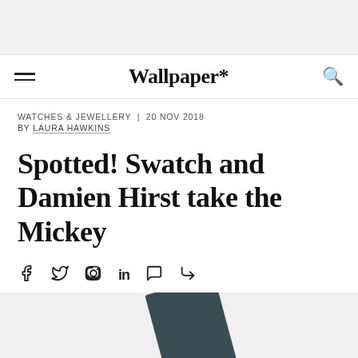Wallpaper*
WATCHES & JEWELLERY  |  20 NOV 2018
BY LAURA HAWKINS
Spotted! Swatch and Damien Hirst take the Mickey
[Figure (infographic): Social sharing icons: Facebook, Twitter, Pinterest, LinkedIn, WhatsApp, Share/forward arrow]
[Figure (photo): Partial image of a dark teal/slate colored object (appears to be a watch or watch box) on a light grey background, cropped at bottom of page]